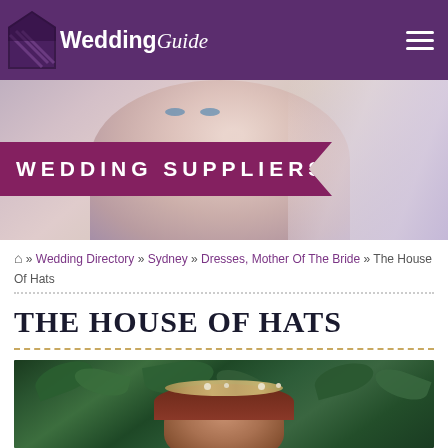Wedding Guide
[Figure (screenshot): Hero banner with blurred bride wearing veil, with 'WEDDING SUPPLIERS' banner overlay in dark pink/purple]
⌂ » Wedding Directory » Sydney » Dresses, Mother Of The Bride » The House Of Hats
THE HOUSE OF HATS
[Figure (photo): Photo of woman with floral crown/wreath in her hair, surrounded by green foliage]